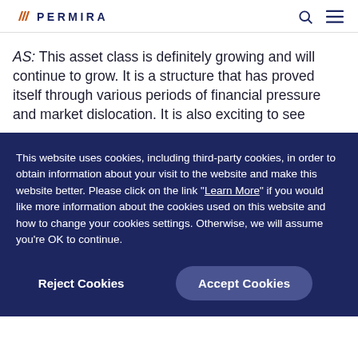PERMIRA
AS: This asset class is definitely growing and will continue to grow. It is a structure that has proved itself through various periods of financial pressure and market dislocation. It is also exciting to see
This website uses cookies, including third-party cookies, in order to obtain information about your visit to the website and make this website better. Please click on the link "Learn More" if you would like more information about the cookies used on this website and how to change your cookies settings. Otherwise, we will assume you're OK to continue.
Reject Cookies
Accept Cookies